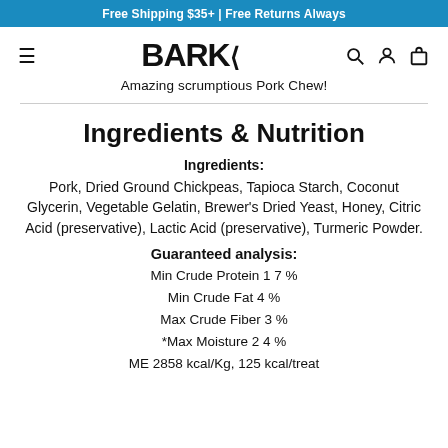Free Shipping $35+ | Free Returns Always
[Figure (logo): BARK logo with arrow/zigzag mark]
Amazing scrumptious Pork Chew!
Ingredients & Nutrition
Ingredients:
Pork, Dried Ground Chickpeas, Tapioca Starch, Coconut Glycerin, Vegetable Gelatin, Brewer's Dried Yeast, Honey, Citric Acid (preservative), Lactic Acid (preservative), Turmeric Powder.
Guaranteed analysis:
Min Crude Protein 1 7 %
Min Crude Fat 4 %
Max Crude Fiber 3 %
*Max Moisture 2 4 %
ME 2858 kcal/Kg, 125 kcal/treat